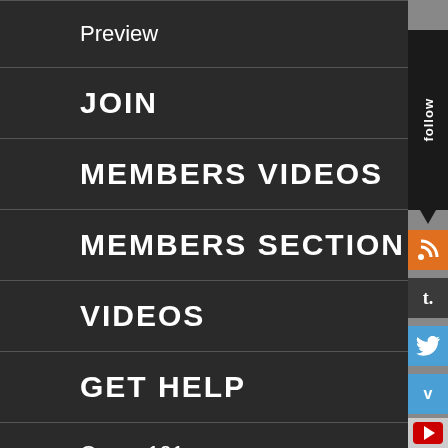Preview
JOIN
MEMBERS VIDEOS
MEMBERS SECTION
VIDEOS
GET HELP
Queer 101
Travel
Coming out